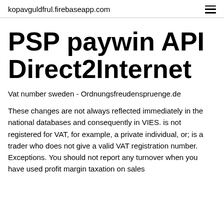kopavguldfrul.firebaseapp.com
PSP paywin API Direct2Internet
Vat number sweden - Ordnungsfreudenspruenge.de
These changes are not always reflected immediately in the national databases and consequently in VIES. is not registered for VAT, for example, a private individual, or; is a trader who does not give a valid VAT registration number. Exceptions. You should not report any turnover when you have used profit margin taxation on sales